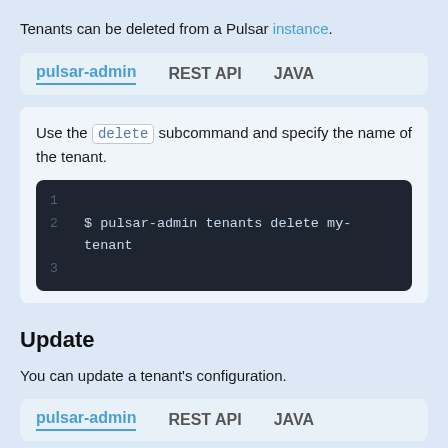Tenants can be deleted from a Pulsar instance.
pulsar-admin | REST API | JAVA (tab bar)
Use the delete subcommand and specify the name of the tenant.
$ pulsar-admin tenants delete my-tenant
Update
You can update a tenant's configuration.
pulsar-admin | REST API | JAVA (tab bar)